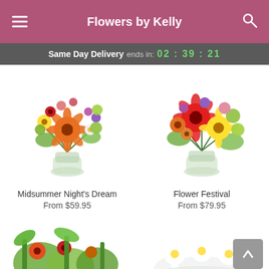Flowers by Kelly
Same Day Delivery ends in: 02 : 39 : 21
[Figure (photo): Colorful flower bouquet in a glass vase — Midsummer Night's Dream]
Midsummer Night's Dream
From $59.95
[Figure (photo): Colorful flower bouquet with red gerbera daisies and yellow flowers in a glass vase — Flower Festival]
Flower Festival
From $79.95
[Figure (photo): Partially visible flower arrangement at bottom left]
[Figure (photo): Partially visible white daisy bouquet at bottom right]